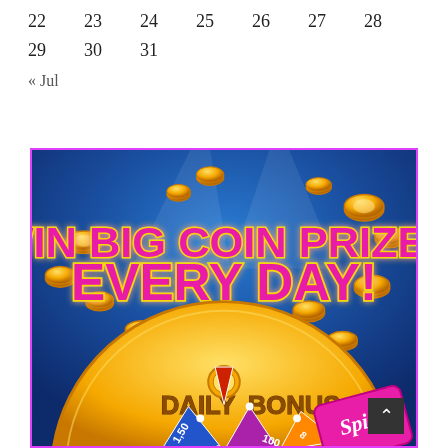| 22 | 23 | 24 | 25 | 26 | 27 | 28 |
| 29 | 30 | 31 |  |  |  |  |
« Jul
[Figure (illustration): Promotional casino-style ad banner with blue background, gold coins, text 'WIN BIG COIN PRIZES EVERY DAY!' in pink/magenta with gold outline, and a bonus spin wheel at the bottom labeled 'DAILY BONUS' with spin segments showing values like 150, 100, and a pink 'Spin' button.]